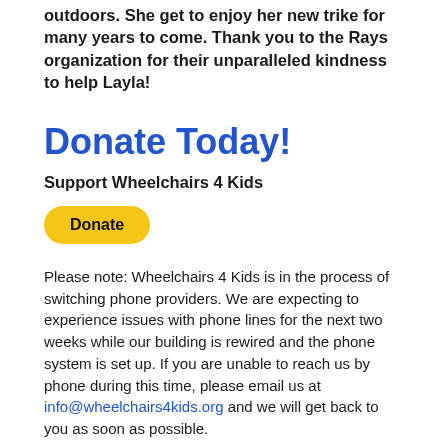outdoors. She get to enjoy her new trike for many years to come. Thank you to the Rays organization for their unparalleled kindness to help Layla!
Donate Today!
Support Wheelchairs 4 Kids
[Figure (other): Yellow rounded button with bold text 'Donate']
Please note: Wheelchairs 4 Kids is in the process of switching phone providers. We are expecting to experience issues with phone lines for the next two weeks while our building is rewired and the phone system is set up. If you are unable to reach us by phone during this time, please email us at info@wheelchairs4kids.org and we will get back to you as soon as possible.
Thank you for your patience and understanding!